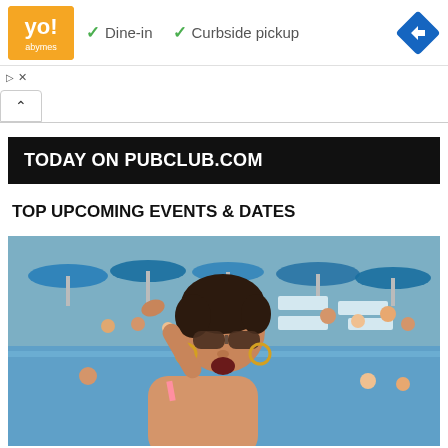[Figure (screenshot): Advertisement banner showing a restaurant logo (orange/yellow square with stylized text), checkmarks for 'Dine-in' and 'Curbside pickup' options, and a blue navigation diamond/arrow icon on the right]
[Figure (screenshot): Ad controls row with play triangle and X close button]
[Figure (screenshot): Collapse/accordion bar with upward caret chevron, followed by a horizontal separator line]
TODAY ON PUBCLUB.COM
TOP UPCOMING EVENTS & DATES
[Figure (photo): Pool party scene with a woman in foreground wearing sunglasses and a pink bikini top, hand raised to forehead, mouth open, surrounded by people in and around a pool with blue umbrellas and lounge chairs in the background]